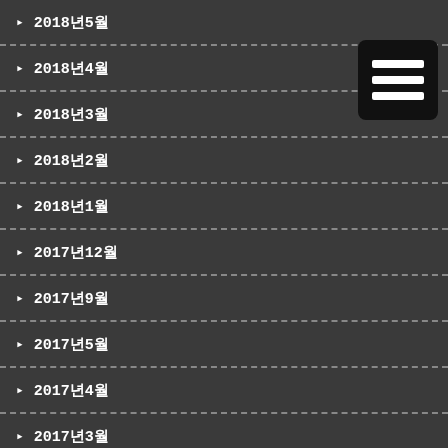2018년5월
2018년4월
2018년3월
2018년2월
2018년1월
2017년12월
2017년9월
2017년5월
2017년4월
2017년3월
2017년1월
2016년12월